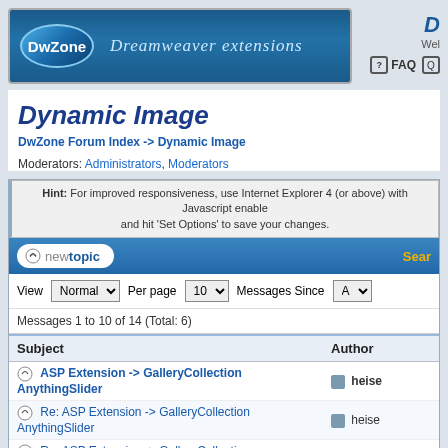[Figure (logo): DwZone Dreamweaver extensions banner logo with blue gradient background]
Dynamic Image
DwZone Forum Index -> Dynamic Image
Moderators: Administrators, Moderators
Hint: For improved responsiveness, use Internet Explorer 4 (or above) with Javascript enabled and hit 'Set Options' to save your changes.
new topic | Search
View Normal Per page 10 Messages Since A
Messages 1 to 10 of 14 (Total: 6)
| Subject | Author |
| --- | --- |
| ASP Extension -> GalleryCollection AnythingSlider | heise |
| Re: ASP Extension -> GalleryCollection AnythingSlider | heise |
| Re: ASP Extension -> GalleryCollection AnythingSlider | heise |
| Dependent Combo Menus | PeterHegg |
| Adding css style in the extension | klasse_joh |